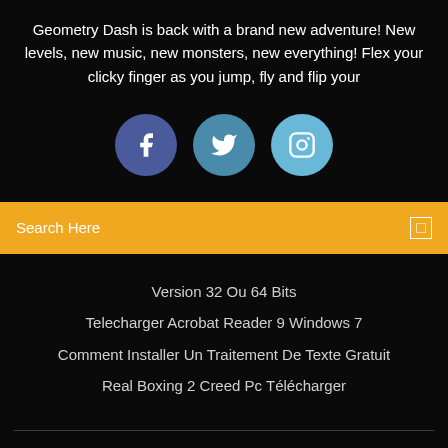Geometry Dash is back with a brand new adventure! New levels, new music, new monsters, new everything! Flex your clicky finger as you jump, fly and flip your
[Figure (infographic): Three social media icon circles: Facebook (dark blue-purple), Twitter (medium blue), Instagram (light blue)]
Search Here
Version 32 Ou 64 Bits
Telecharger Acrobat Reader 9 Windows 7
Comment Installer Un Traitement De Texte Gratuit
Real Boxing 2 Creed Pc Télécharger
Copyright ©2022 All rights reserved | This template is made with ♡ by Colorlib